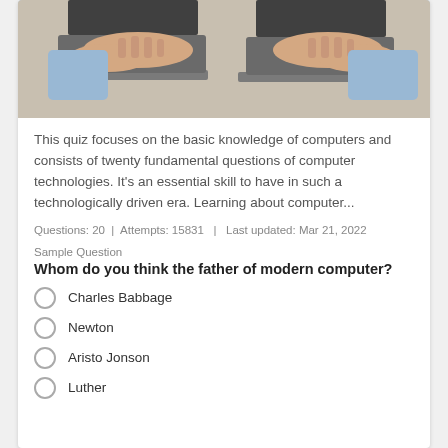[Figure (photo): Photo of two people typing on laptops on a wooden table, viewed from above/side angle]
This quiz focuses on the basic knowledge of computers and consists of twenty fundamental questions of computer technologies. It's an essential skill to have in such a technologically driven era. Learning about computer...
Questions: 20  |  Attempts: 15831  |  Last updated: Mar 21, 2022
Sample Question
Whom do you think the father of modern computer?
Charles Babbage
Newton
Aristo Jonson
Luther